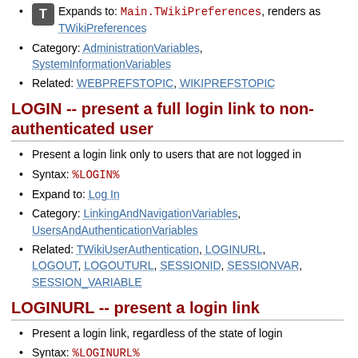Expands to: Main.TWikiPreferences, renders as TWikiPreferences
Category: AdministrationVariables, SystemInformationVariables
Related: WEBPREFSTOPIC, WIKIPREFSTOPIC
LOGIN -- present a full login link to non-authenticated user
Present a login link only to users that are not logged in
Syntax: %LOGIN%
Expand to: Log In
Category: LinkingAndNavigationVariables, UsersAndAuthenticationVariables
Related: TWikiUserAuthentication, LOGINURL, LOGOUT, LOGOUTURL, SESSIONID, SESSIONVAR, SESSION_VARIABLE
LOGINURL -- present a login link
Present a login link, regardless of the state of login
Syntax: %LOGINURL%
Expand to: /do/login/TWiki/TWikiVariables?